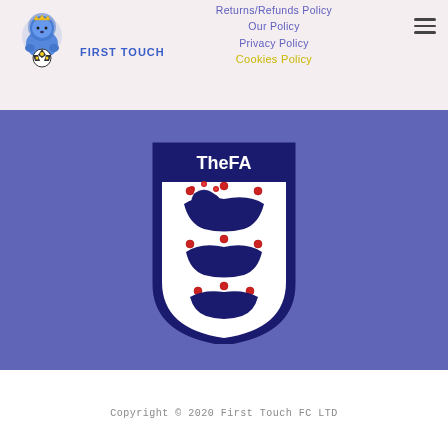[Figure (logo): First Touch FC logo with cartoon lion holding a football, blue illustration]
FIRST TOUCH
Returns/Refunds Policy
Our Policy
Privacy Policy
Cookies Policy
[Figure (logo): The FA (Football Association) official crest/badge with three lions on shield, navy blue and red]
Copyright © 2020 First Touch FC LTD